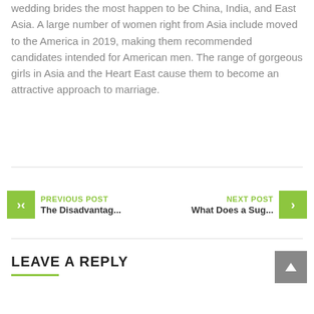wedding brides the most happen to be China, India, and East Asia. A large number of women right from Asia include moved to the America in 2019, making them recommended candidates intended for American men. The range of gorgeous girls in Asia and the Heart East cause them to become an attractive approach to marriage.
PREVIOUS POST
The Disadvantag...
NEXT POST
What Does a Sug...
LEAVE A REPLY